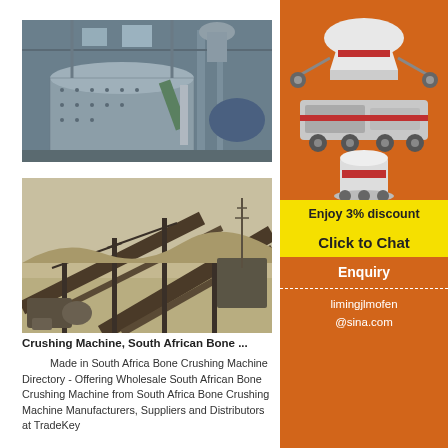Bone
[Figure (photo): Industrial ball mill equipment inside a large factory building with metal structures and industrial machinery]
[Figure (photo): Aerial view of a large open-pit mining crushing and conveyor operation in South Africa]
Crushing Machine, South African Bone ...
Made in South Africa Bone Crushing Machine Directory - Offering Wholesale South African Bone Crushing Machine from South Africa Bone Crushing Machine Manufacturers, Suppliers and Distributors at TradeKey
[Figure (photo): Sidebar showing industrial crushing machines (cone crusher, mobile crusher, grinding mill) on orange background with discount offer and contact details]
Enjoy 3% discount
Click to Chat
Enquiry
limingjlmofen@sina.com